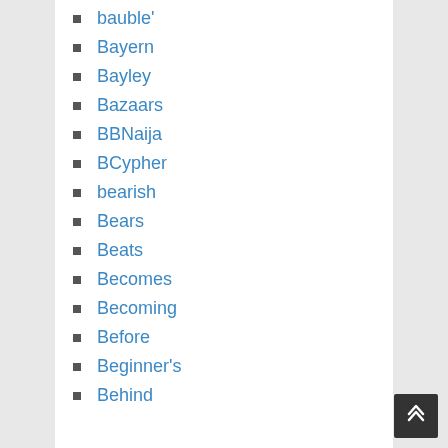bauble'
Bayern
Bayley
Bazaars
BBNaija
BCypher
bearish
Bears
Beats
Becomes
Becoming
Before
Beginner's
Behind